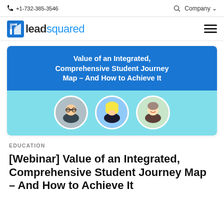+1-732-385-3546   Company
[Figure (logo): LeadSquared logo with blue square icon and text 'leadsquared']
[Figure (illustration): Webinar banner with blue header reading 'Value of an Integrated, Comprehensive Student Journey Map - And How to Achieve It' and three circular headshot photos on teal background]
EDUCATION
[Webinar] Value of an Integrated, Comprehensive Student Journey Map – And How to Achieve It